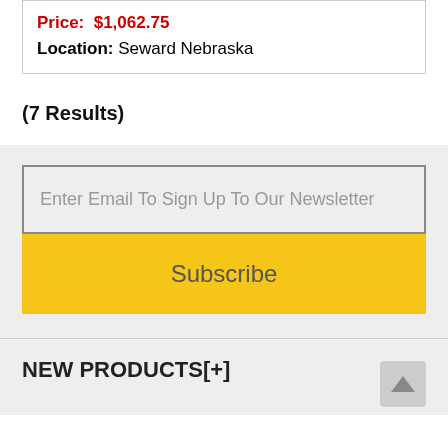Price: $1,062.75
Location: Seward Nebraska
(7 Results)
Enter Email To Sign Up To Our Newsletter
Subscribe
NEW PRODUCTS[+]